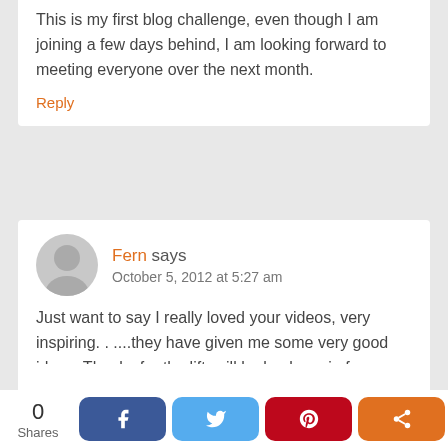This is my first blog challenge, even though I am joining a few days behind, I am looking forward to meeting everyone over the next month.
Reply
Fern says
October 5, 2012 at 5:27 am
Just want to say I really loved your videos, very inspiring. . ....they have given me some very good ideas. Thanks for the lift, will be back again for some more!
Reply
0 Shares